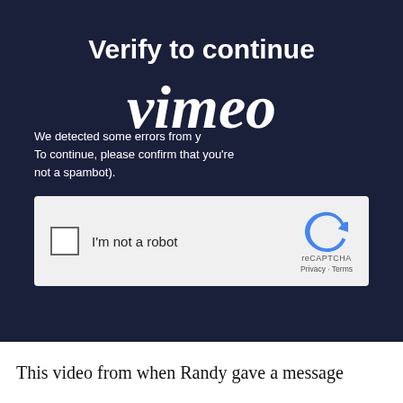Verify to continue
[Figure (logo): Vimeo logo in large italic white text overlaid on the dark panel]
We detected some errors from your IP. To continue, please confirm that youâ€™re not a spambot).
[Figure (other): reCAPTCHA widget with checkbox labeled 'I'm not a robot' and reCAPTCHA logo with Privacy - Terms links]
This video from when Randy gave a message